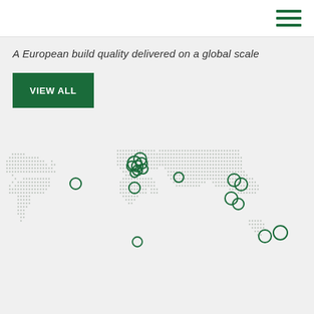A European build quality delivered on a global scale
VIEW ALL
[Figure (map): Dotted world map with green circle markers indicating global locations, concentrated in Europe with additional markers in the Americas, Africa, Middle East, South/Southeast Asia, and Oceania.]